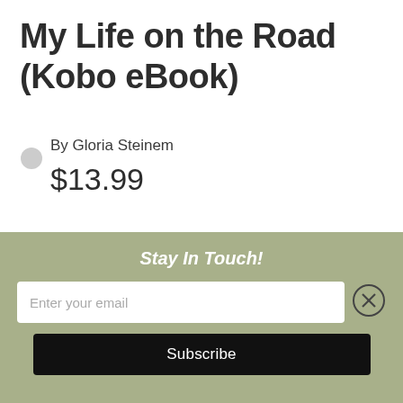My Life on the Road (Kobo eBook)
By Gloria Steinem
$13.99
BUY EBOOK NOW
Available Now
Description
Stay In Touch!
Enter your email
Subscribe